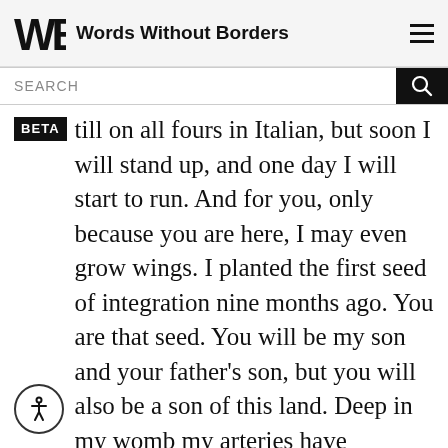Words Without Borders
SEARCH
BETA till on all fours in Italian, but soon I will stand up, and one day I will start to run. And for you, only because you are here, I may even grow wings. I planted the first seed of integration nine months ago. You are that seed. You will be my son and your father's son, but you will also be a son of this land. Deep in my womb my arteries have transformed into sitar strings and they have rocked you with the raga of Tansen. In my breath you heard the qawwali of Fateh Ali Khan and the ghazal of Rumi. Allah, surrounded by angels of every color, blessed every drop of blood that